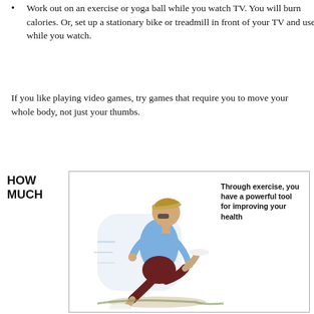Work out on an exercise or yoga ball while you watch TV. You will burn calories. Or, set up a stationary bike or treadmill in front of your TV and use it while you watch.
If you like playing video games, try games that require you to move your whole body, not just your thumbs.
HOW MUCH
[Figure (illustration): Illustration of a person jogging/running, wearing a cap, blue shirt, and dark shorts. Text overlay reads: 'Through exercise, you have a powerful tool for improving your health']